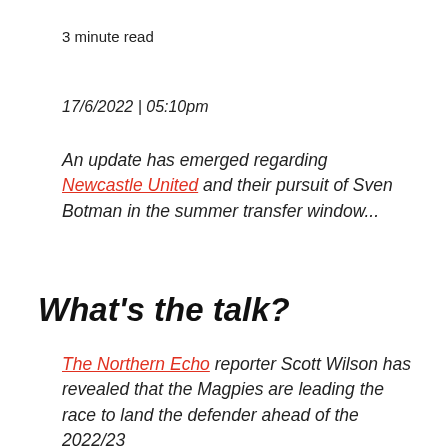3 minute read
17/6/2022 | 05:10pm
An update has emerged regarding Newcastle United and their pursuit of Sven Botman in the summer transfer window...
What's the talk?
The Northern Echo reporter Scott Wilson has revealed that the Magpies are leading the race to land the defender ahead of the 2022/23